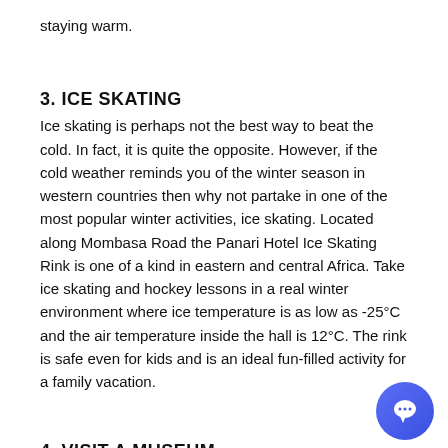staying warm.
3. ICE SKATING
Ice skating is perhaps not the best way to beat the cold. In fact, it is quite the opposite. However, if the cold weather reminds you of the winter season in western countries then why not partake in one of the most popular winter activities, ice skating. Located along Mombasa Road the Panari Hotel Ice Skating Rink is one of a kind in eastern and central Africa. Take ice skating and hockey lessons in a real winter environment where ice temperature is as low as -25°C and the air temperature inside the hall is 12°C. The rink is safe even for kids and is an ideal fun-filled activity for a family vacation.
4. VISIT A MUSEUM
Museums are often overlooked as part of one's vacation itinerary but they are fun and educational. There are several